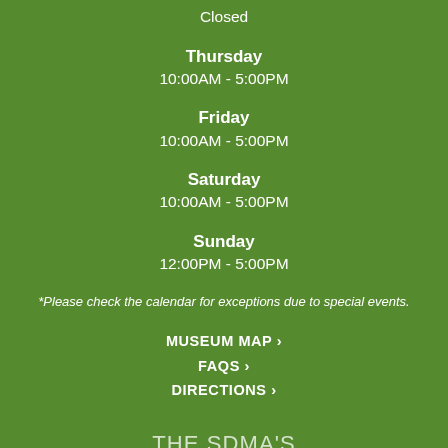Closed
Thursday
10:00AM - 5:00PM
Friday
10:00AM - 5:00PM
Saturday
10:00AM - 5:00PM
Sunday
12:00PM - 5:00PM
*Please check the calendar for exceptions due to special events.
MUSEUM MAP ›
FAQS ›
DIRECTIONS ›
THE SDMA'S
PANAMA 66 HOURS
Monday